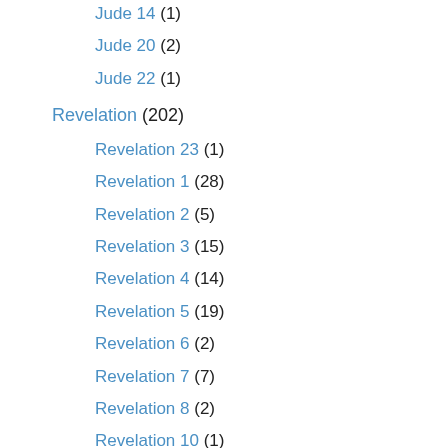Jude 14 (1)
Jude 20 (2)
Jude 22 (1)
Revelation (202)
Revelation 23 (1)
Revelation 1 (28)
Revelation 2 (5)
Revelation 3 (15)
Revelation 4 (14)
Revelation 5 (19)
Revelation 6 (2)
Revelation 7 (7)
Revelation 8 (2)
Revelation 10 (1)